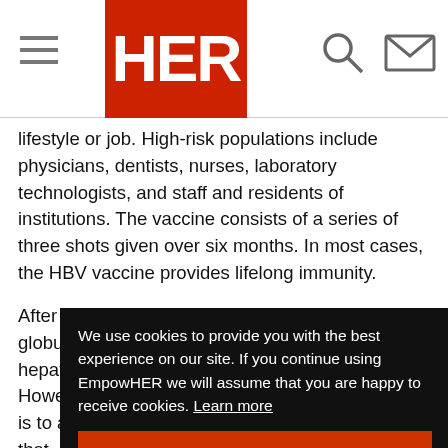HER (logo)
lifestyle or job. High-risk populations include physicians, dentists, nurses, laboratory technologists, and staff and residents of institutions. The vaccine consists of a series of three shots given over six months. In most cases, the HBV vaccine provides lifelong immunity.
After possible exposure to hepatitis B, immune globulin and the vaccine may be given to prevent hepatitis B or lessen its severity if it occurs. However, the most effective preventive measure is to avoid exposing yourself to the virus. To do that, do the following:
Use condoms... latex condo...
Shield yours... careful whe... gloves and use bleach when cleaning up blood. Do
We use cookies to provide you with the best experience on our site. If you continue using EmpowHER we will assume that you are happy to receive cookies. Learn more